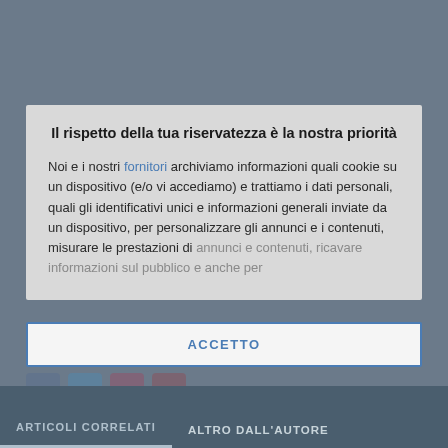Il rispetto della tua riservatezza è la nostra priorità
Noi e i nostri fornitori archiviamo informazioni quali cookie su un dispositivo (e/o vi accediamo) e trattiamo i dati personali, quali gli identificativi unici e informazioni generali inviate da un dispositivo, per personalizzare gli annunci e i contenuti, misurare le prestazioni di annunci e contenuti, ricavare informazioni sul pubblico e anche per
ACCETTO
PIÙ OPZIONI
ARTICOLI CORRELATI
ALTRO DALL'AUTORE